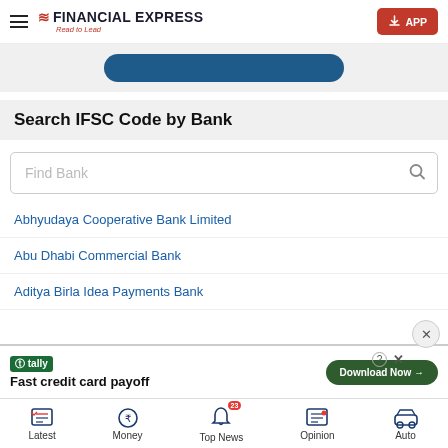FINANCIAL EXPRESS — Read to Lead | APP
[Figure (screenshot): Partial blue button banner at top of page]
Search IFSC Code by Bank
Find Bank
Abhyudaya Cooperative Bank Limited
Abu Dhabi Commercial Bank
Aditya Birla Idea Payments Bank
[Figure (screenshot): Tally ad banner: Fast credit card payoff, Download Now button]
Latest   Money   Top News 23   Opinion   Auto